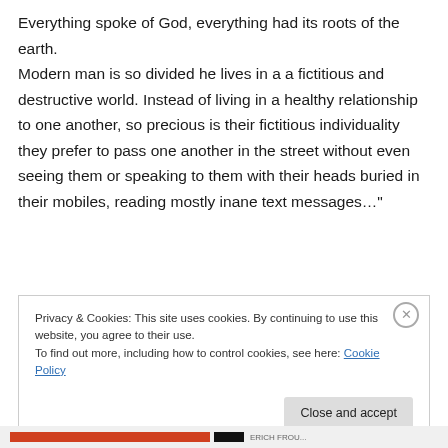Everything spoke of God, everything had its roots of the earth. Modern man is so divided he lives in a a fictitious and destructive world. Instead of living in a healthy relationship to one another, so precious is their fictitious individuality they prefer to pass one another in the street without even seeing them or speaking to them with their heads buried in their mobiles, reading mostly inane text messages…"
Privacy & Cookies: This site uses cookies. By continuing to use this website, you agree to their use. To find out more, including how to control cookies, see here: Cookie Policy